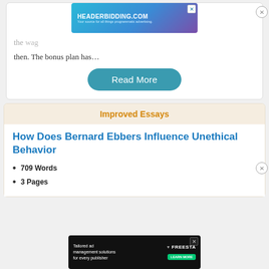[Figure (screenshot): HeaderBidding.com advertisement banner at top of page]
then. The bonus plan has…
Read More
Improved Essays
How Does Bernard Ebbers Influence Unethical Behavior
709 Words
3 Pages
[Figure (screenshot): Freestar tailored ad management solutions advertisement banner at bottom]